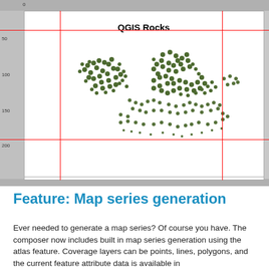[Figure (screenshot): QGIS print composer screenshot showing a map canvas with the title 'QGIS Rocks' and a scatter of dark green point features. Red guide lines are overlaid vertically and horizontally. Ruler bars appear on the top and left edges. The lower portion of the composer shows an empty white area below the map.]
Feature: Map series generation
Ever needed to generate a map series? Of course you have. The composer now includes built in map series generation using the atlas feature. Coverage layers can be points, lines, polygons, and the current feature attribute data is available in